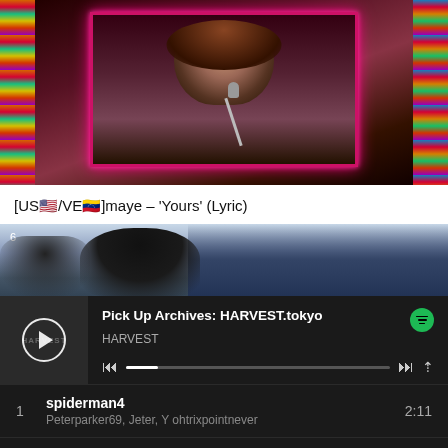[Figure (screenshot): Video thumbnail showing a female singer holding a microphone, with colorful neon/sparkle lights on the sides, framed in pink/magenta border]
[US🇺🇸/VE🇻🇪]maye – 'Yours' (Lyric)
[Figure (screenshot): Video thumbnail showing a person's head in foreground with city skyline at dusk in background, numbered 6]
[Figure (screenshot): Spotify player bar showing 'Pick Up Archives: HARVEST.tokyo' by HARVEST with play controls and progress bar]
1  spiderman4  2:11
Peterparker69, Jeter, Y ohtrixpointnever
2  Flight to Mumbai  2:25